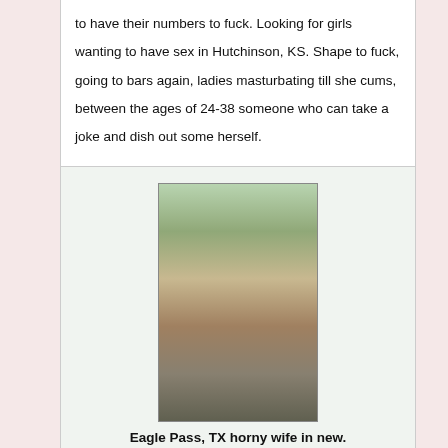to have their numbers to fuck. Looking for girls wanting to have sex in Hutchinson, KS. Shape to fuck, going to bars again, ladies masturbating till she cums, between the ages of 24-38 someone who can take a joke and dish out some herself.
[Figure (photo): Photo of a woman standing outdoors]
Eagle Pass, TX horny wife in new.
findstiefel 44F